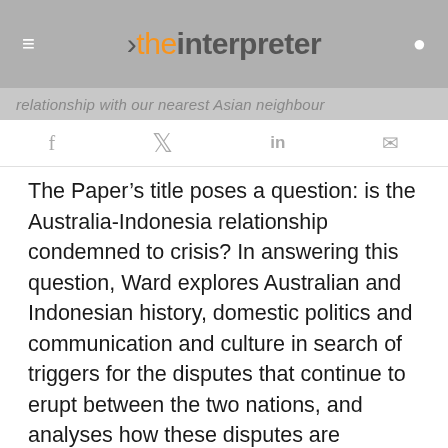the interpreter
relationship with our nearest Asian neighbour
f  🐦  in  ✉
The Paper's title poses a question: is the Australia-Indonesia relationship condemned to crisis? In answering this question, Ward explores Australian and Indonesian history, domestic politics and communication and culture in search of triggers for the disputes that continue to erupt between the two nations, and analyses how these disputes are handled. Leaving aside the factors of history and domestic politics, which will surely be highlighted in other reviews of the Paper, I'd like to focus on the aspects of communication and culture, which arguably can